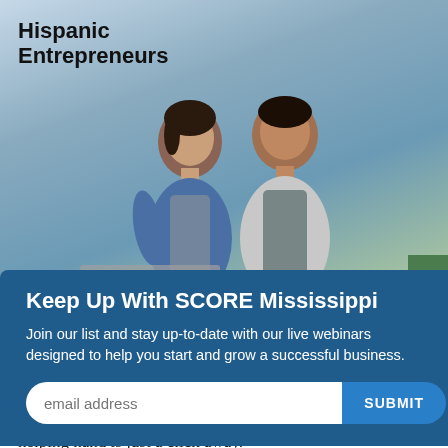[Figure (photo): Two Hispanic entrepreneurs (a woman and a man) wearing aprons, smiling, standing in what appears to be a food service or restaurant setting]
Hispanic Entrepreneurs
[Figure (screenshot): Modal popup overlay with blue background: 'Keep Up With SCORE Mississippi' heading, subscription text, email input field with SUBMIT button, and close (x) button]
educational content, and online workshops to give you all the assistance you need to reach your goals. Remember, a helping hand is just a click away.